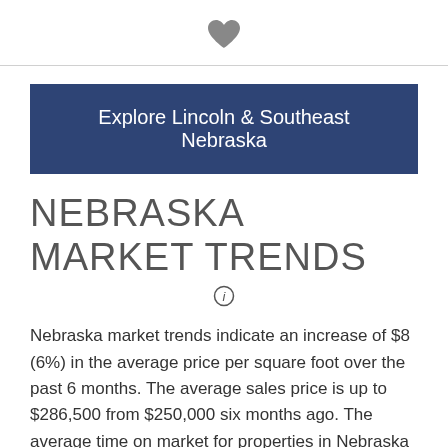[Figure (illustration): Heart icon in gray]
Explore Lincoln & Southeast Nebraska
NEBRASKA MARKET TRENDS
[Figure (other): Info (i) circle icon]
Nebraska market trends indicate an increase of $8 (6%) in the average price per square foot over the past 6 months. The average sales price is up to $286,500 from $250,000 six months ago. The average time on market for properties in Nebraska is 3 days. Buyers can expect to pay 102% of the seller's asking price.